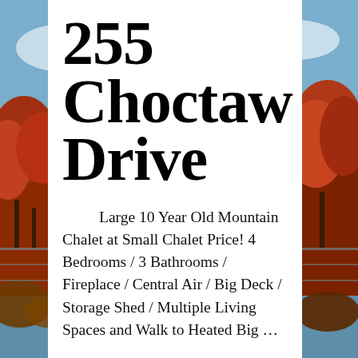[Figure (photo): Autumn landscape background with red and orange foliage trees reflected in a lake, blue sky with clouds]
255 Choctaw Drive
Large 10 Year Old Mountain Chalet at Small Chalet Price! 4 Bedrooms / 3 Bathrooms / Fireplace / Central Air / Big Deck / Storage Shed / Multiple Living Spaces and Walk to Heated Big …